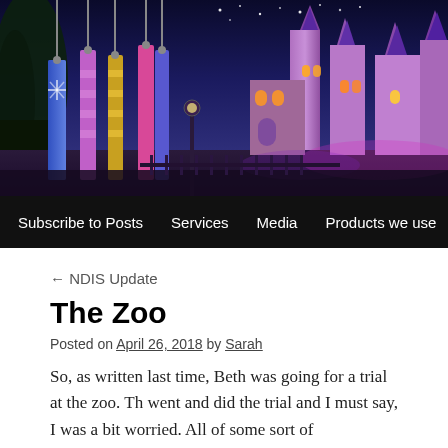[Figure (photo): Night-time photo of a Disney-style castle with purple/blue lighting, colorful banners and flags in the foreground, and trees and stars visible in the background.]
Subscribe to Posts | Services | Media | Products we use | Social
← NDIS Update
The Zoo
Posted on April 26, 2018 by Sarah
So, as written last time, Beth was going for a trial at the zoo. Th went and did the trial and I must say, I was a bit worried. All of some sort of employment situation, all are about 25. Beth is the school so therefore doesn't have that work ethos yet. On the wa explained that she had to step up for the trial, she had to do wh